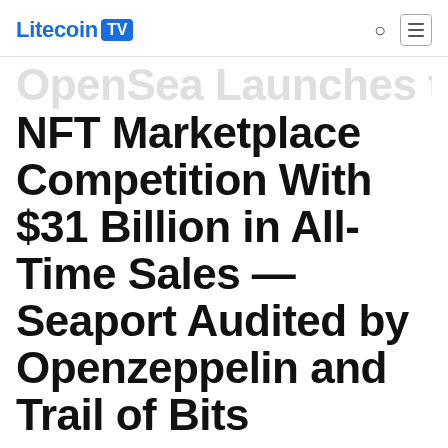Litecoin TV
OpenSea Launches NFT Marketplace Competition With $31 Billion in All-Time Sales — Seaport Audited by Openzeppelin and Trail of Bits